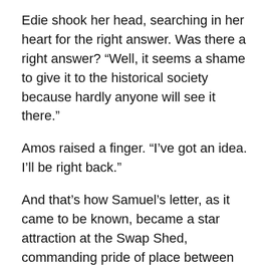Edie shook her head, searching in her heart for the right answer. Was there a right answer? “Well, it seems a shame to give it to the historical society because hardly anyone will see it there.”
Amos raised a finger. “I’ve got an idea. I’ll be right back.”
And that’s how Samuel’s letter, as it came to be known, became a star attraction at the Swap Shed, commanding pride of place between two panes of window glass pressed together in a discarded picture frame held aloft on a stand.
Edie declared it one of Amos’s best finds ever while he maintained that she deserved the credit.
At first, purists tried to argue that the letter belonged in the historical society. But judging by the reaction of most